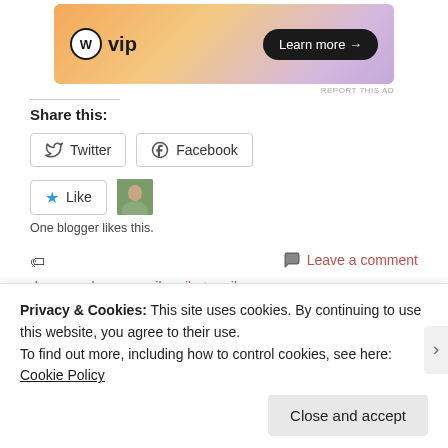[Figure (other): WordPress VIP advertisement banner with gradient orange-pink-purple background, WordPress logo, 'vip' text, and 'Learn more →' button]
REPORT THIS AD
Share this:
Twitter  Facebook
Like  [blogger avatar]  One blogger likes this.
day spa, dayspa, nail, nailart, nails, red, rednails, spa, sponsored, vaniday
Leave a comment
« Monthly Round Up: September    Shop and Box Haul: Anastasia
Privacy & Cookies: This site uses cookies. By continuing to use this website, you agree to their use. To find out more, including how to control cookies, see here: Cookie Policy
Close and accept